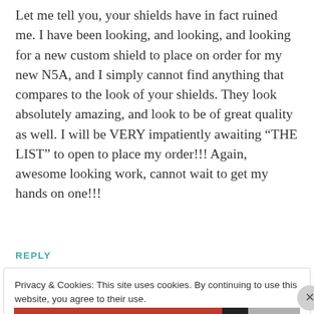Let me tell you, your shields have in fact ruined me. I have been looking, and looking, and looking for a new custom shield to place on order for my new N5A, and I simply cannot find anything that compares to the look of your shields. They look absolutely amazing, and look to be of great quality as well. I will be VERY impatiently awaiting “THE LIST” to open to place my order!!! Again, awesome looking work, cannot wait to get my hands on one!!!
REPLY
Privacy & Cookies: This site uses cookies. By continuing to use this website, you agree to their use.
To find out more, including how to control cookies, see here: Cookie Policy
Close and accept